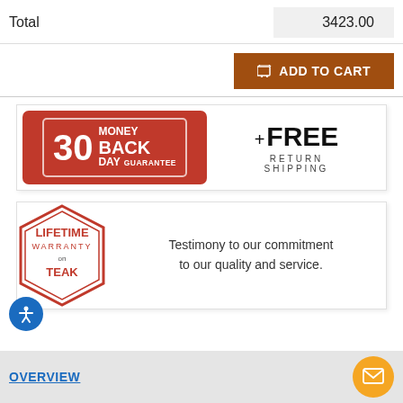|  |  |
| --- | --- |
| Total | 3423.00 |
[Figure (infographic): Add to Cart button in brown/orange color with cart icon]
[Figure (infographic): 30 Day Money Back Guarantee badge (red) + FREE RETURN SHIPPING]
[Figure (infographic): Lifetime Warranty on Teak hexagon badge with text: Testimony to our commitment to our quality and service.]
OVERVIEW